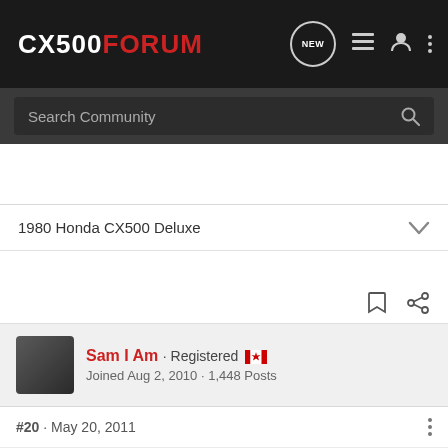CX500FORUM
Search Community
1980 Honda CX500 Deluxe
Sam I Am · Registered
Joined Aug 2, 2010 · 1,448 Posts
#20 · May 20, 2011
Looks le